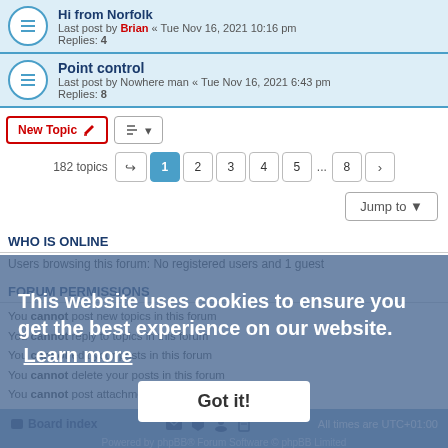Hi from Norfolk — Last post by Brian « Tue Nov 16, 2021 10:16 pm — Replies: 4
Point control — Last post by Nowhere man « Tue Nov 16, 2021 6:43 pm — Replies: 8
New Topic | sort controls | 182 topics | pagination 1 2 3 4 5 ... 8
Jump to
WHO IS ONLINE
Users browsing this forum: No registered users and 1 guest
FORUM PERMISSIONS
You cannot post new topics in this forum
You cannot reply to topics in this forum
You cannot edit your posts in this forum
You cannot delete your posts in this forum
You cannot post attachments in this forum
Board index | All times are UTC+01:00 | Powered by phpBB® Forum Software © phpBB Limited | Privacy | Terms
This website uses cookies to ensure you get the best experience on our website. Learn more
Got it!